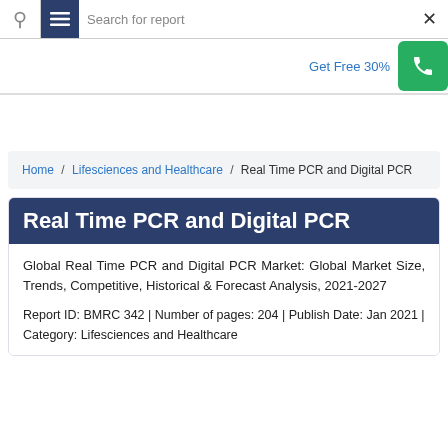Search for report
Get Free 30%
Home / Lifesciences and Healthcare / Real Time PCR and Digital PCR
Real Time PCR and Digital PCR
Global Real Time PCR and Digital PCR Market: Global Market Size, Trends, Competitive, Historical & Forecast Analysis, 2021-2027
Report ID: BMRC 342 | Number of pages: 204 | Publish Date: Jan 2021 | Category: Lifesciences and Healthcare